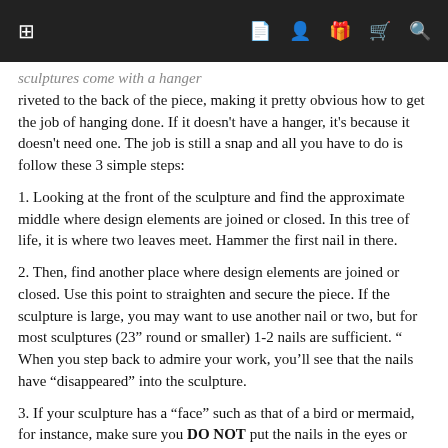[Navigation bar with grid, document, person, gift, cart, search icons]
sculptures come with a hanger riveted to the back of the piece, making it pretty obvious how to get the job of hanging done. If it doesn't have a hanger, it's because it doesn't need one. The job is still a snap and all you have to do is follow these 3 simple steps:
1. Looking at the front of the sculpture and find the approximate middle where design elements are joined or closed. In this tree of life, it is where two leaves meet. Hammer the first nail in there.
2. Then, find another place where design elements are joined or closed. Use this point to straighten and secure the piece. If the sculpture is large, you may want to use another nail or two, but for most sculptures (23" round or smaller) 1-2 nails are sufficient. " When you step back to admire your work, you'll see that the nails have "disappeared" into the sculpture.
3. If your sculpture has a “face” such as that of a bird or mermaid, for instance, make sure you DO NOT put the nails in the eyes or mouth. A viewer’s attention will go right to those elements and therefore, straight to your nail. That is exactly what you don’t want.